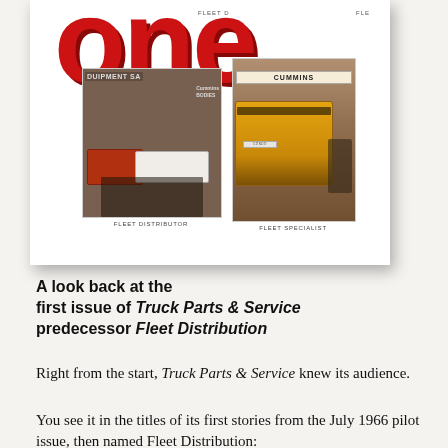[Figure (photo): A magazine cover showing a large red 'one' text at top, with two vintage photographs below: one labeled 'FLEET DISTRIBUTOR' showing people near trucks in front of a sign reading 'DUIPMENT SA' with 'Cummins BODIES', and one labeled 'FLEET SPECIALIST' showing a yellow Cummins van with a man standing beside it.]
A look back at the first issue of Truck Parts & Service predecessor Fleet Distribution
Right from the start, Truck Parts & Service knew its audience.
You see it in the titles of its first stories from the July 1966 pilot issue, then named Fleet Distribution: